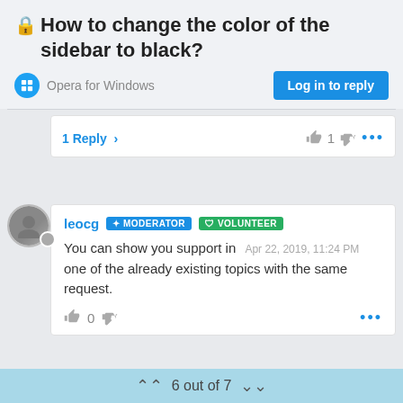🔒 How to change the color of the sidebar to black?
Opera for Windows
Log in to reply
1 Reply >
leocg MODERATOR VOLUNTEER
You can show you support in one of the already existing topics with the same request.
Apr 22, 2019, 11:24 PM
6 out of 7